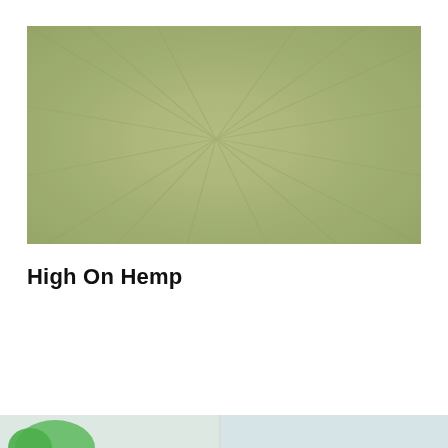[Figure (photo): A close-up photograph of olive/sage green crumpled or folded fabric or textile with subtle radiating crease lines emanating from the center.]
High On Hemp
[Figure (photo): Partial view of a second image at the bottom of the page, showing what appears to be a light-colored scene with some green plant element visible at the left edge.]